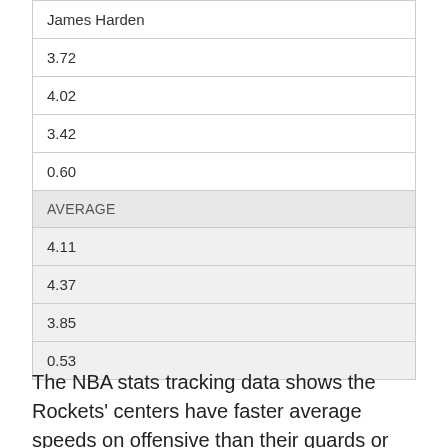| James Harden |
| 3.72 |
| 4.02 |
| 3.42 |
| 0.60 |
| AVERAGE |
| 4.11 |
| 4.37 |
| 3.85 |
| 0.53 |
The NBA stats tracking data shows the Rockets' centers have faster average speeds on offensive than their guards or wings. By the time Harden or Paul